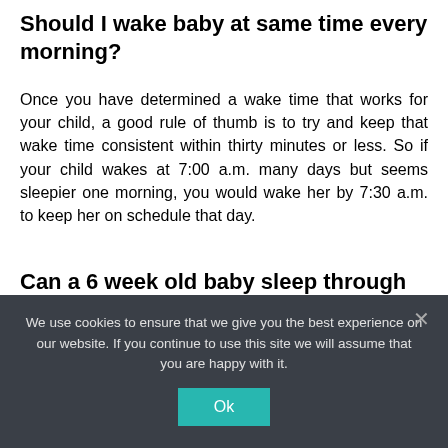Should I wake baby at same time every morning?
Once you have determined a wake time that works for your child, a good rule of thumb is to try and keep that wake time consistent within thirty minutes or less. So if your child wakes at 7:00 a.m. many days but seems sleepier one morning, you would wake her by 7:30 a.m. to keep her on schedule that day.
Can a 6 week old baby sleep through the night?
As babies approach the age of 6 weeks, they begin to respond more to environmental cues, so it helps to have a bedtime routine such as a bath and a song. It may
We use cookies to ensure that we give you the best experience on our website. If you continue to use this site we will assume that you are happy with it.